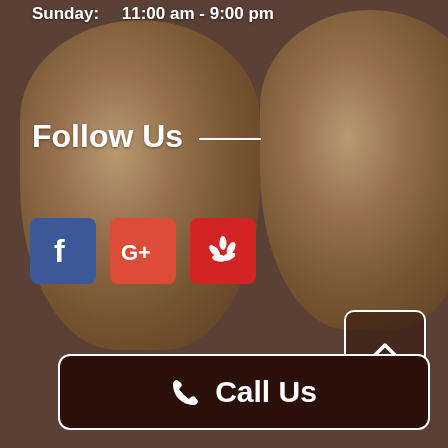Sunday:   11:00 am - 9:00 pm
Follow Us ——
[Figure (illustration): Three social media icon buttons: Facebook (blue), Google+ (red-orange), and Yelp (red)]
[Figure (other): Scroll-to-top button with upward caret arrow, dark background with white border]
[Figure (other): Call Us button with phone icon, dark brown background with white border]